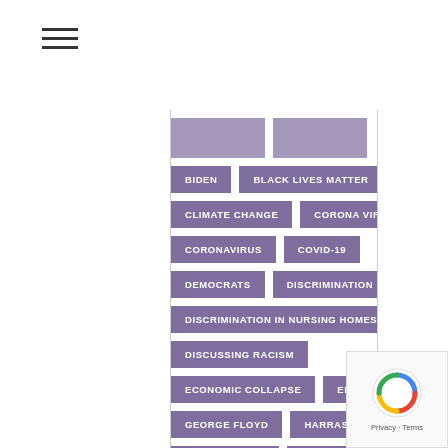BIDEN
BLACK LIVES MATTER
BLM
CLIMATE CHANGE
CORONA VIRUS
CORONAVIRUS
COVID-19
DEMOCRATS
DISCRIMINATION
DISCRIMINATION IN NURSING HOMES
DISCUSSING RACISM
ECONOMIC COLLAPSE
ELECTIONS
GEORGE FLOYD
HARRASSMENT
HEALTH CRISIS
HUFFINGTON POST
INFECTION RATES
INTER-RACIAL RELATIONSHIPS